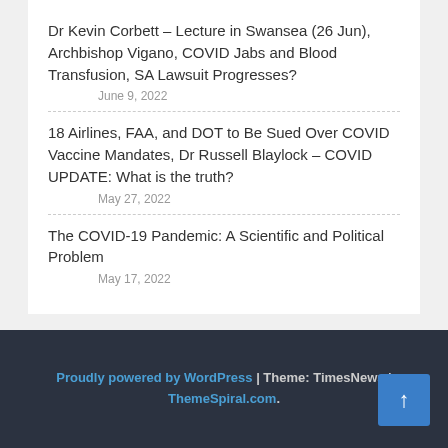Dr Kevin Corbett – Lecture in Swansea (26 Jun), Archbishop Vigano, COVID Jabs and Blood Transfusion, SA Lawsuit Progresses?
June 9, 2022
18 Airlines, FAA, and DOT to Be Sued Over COVID Vaccine Mandates, Dr Russell Blaylock – COVID UPDATE: What is the truth?
May 27, 2022
The COVID-19 Pandemic: A Scientific and Political Problem
May 17, 2022
Proudly powered by WordPress | Theme: TimesNews | ThemeSpiral.com.